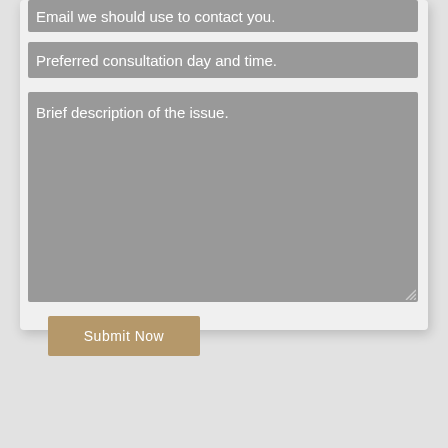Email we should use to contact you.
Preferred consultation day and time.
Brief description of the issue.
Submit Now